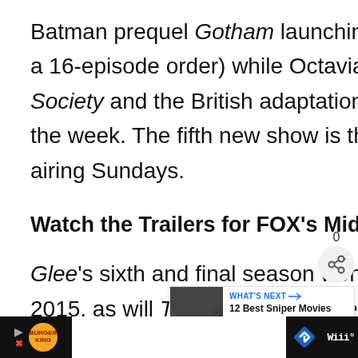Batman prequel Gotham launching Monday nights (with a 16-episode order) while Octavia Spencer's Red Band Society and the British adaptation Gracepoint round out the week. The fifth new show is the comedy Mulaney, airing Sundays.
Watch the Trailers for FOX's Mid-Season Dramas>>
Glee's sixth and final season won't [be airing until] 2015, as will The Following, American Idol and m[ore]
[Figure (screenshot): Share widget showing count 0 and a share icon button]
[Figure (screenshot): What's Next card showing a thumbnail image and text '12 Best Sniper Movies You...']
[Figure (screenshot): Ad bar at the bottom showing Burger King logo, a navigation diamond icon, and Wired logo on black background]